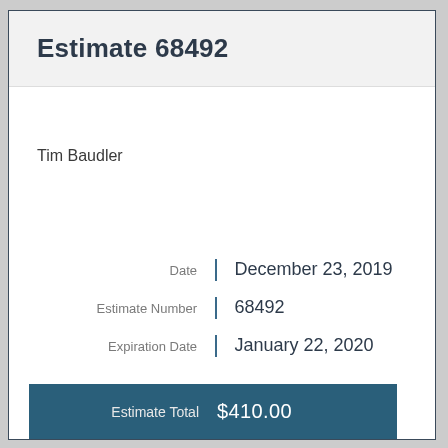Estimate 68492
Tim Baudler
| Field | Value |
| --- | --- |
| Date | December 23, 2019 |
| Estimate Number | 68492 |
| Expiration Date | January 22, 2020 |
| Estimate Total | $410.00 |